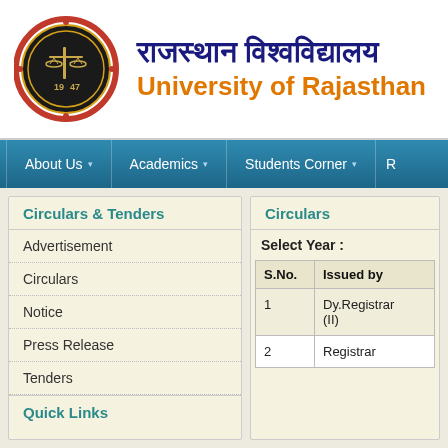[Figure (logo): University of Rajasthan circular seal/emblem with 1947 text]
राजस्थान विश्वविद्यालय University of Rajasthan
About Us  Academics  Students Corner  R
Circulars & Tenders
Advertisement
Circulars
Notice
Press Release
Tenders
Quick Links
Circulars
Select Year :
| S.No. | Issued by |
| --- | --- |
| 1 | Dy.Registrar (II) |
| 2 | Registrar |